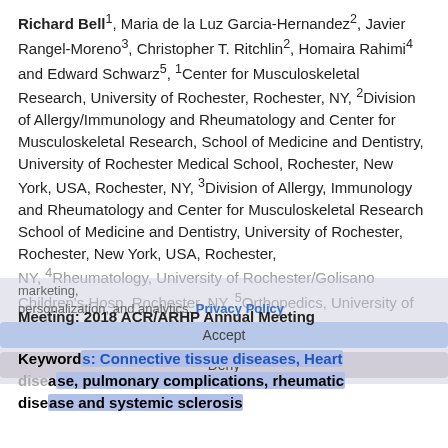Richard Bell1, Maria de la Luz Garcia-Hernandez2, Javier Rangel-Moreno3, Christopher T. Ritchlin2, Homaira Rahimi4 and Edward Schwarz5, 1Center for Musculoskeletal Research, University of Rochester, Rochester, NY, 2Division of Allergy/Immunology and Rheumatology and Center for Musculoskeletal Research, School of Medicine and Dentistry, University of Rochester Medical School, Rochester, New York, USA, Rochester, NY, 3Division of Allergy, Immunology and Rheumatology and Center for Musculoskeletal Research School of Medicine and Dentistry, University of Rochester, Rochester, New York, USA, Rochester, NY, 4Rheumatology, University of Rochester/Golisano Children's Hosp, Rochester, NY, 5Orthopedics, University of Rochester, Rochester, NY
Meeting: 2018 ACR/ARHP Annual Meeting
Keywords: Connective tissue diseases, Heart disease, pulmonary complications, rheumatic disease and systemic sclerosis